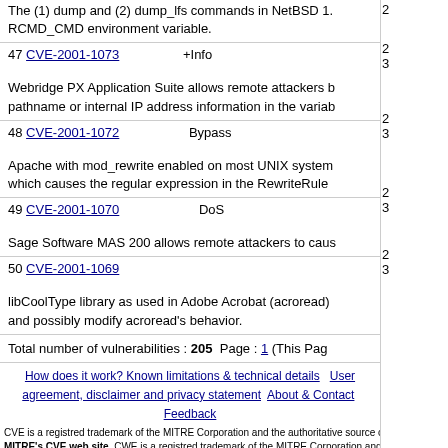The (1) dump and (2) dump_lfs commands in NetBSD 1. RCMD_CMD environment variable.
| # | CVE ID | Type | Score |
| --- | --- | --- | --- |
| 47 | CVE-2001-1073 | +Info | 2
3 |
| 48 | CVE-2001-1072 | Bypass | 2
3 |
| 49 | CVE-2001-1070 | DoS | 2
3 |
| 50 | CVE-2001-1069 |  | 2
3 |
Webridge PX Application Suite allows remote attackers b pathname or internal IP address information in the variab
Apache with mod_rewrite enabled on most UNIX system which causes the regular expression in the RewriteRule
Sage Software MAS 200 allows remote attackers to caus
libCoolType library as used in Adobe Acrobat (acroread) and possibly modify acroread's behavior.
Total number of vulnerabilities : 205  Page : 1 (This Pag
How does it work? Known limitations & technical details  User agreement, disclaimer and privacy statement  About & Contact  Feedback
CVE is a registred trademark of the MITRE Corporation and the authoritative source of CVE content is MITRE's CVE web site. CWE is a registred trademark of the MITRE Corporation and the authoritative source